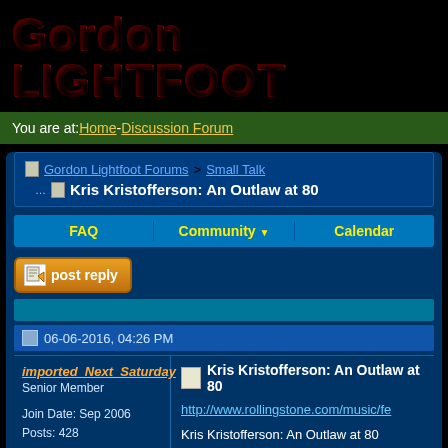Gordon LIGHTFOOT
You are at: Home - Discussion Forum
Gordon Lightfoot Forums > Small Talk
Kris Kristofferson: An Outlaw at 80
FAQ   Community   Calendar
post reply
06-06-2016, 04:26 PM
imported_Next_Saturday
Senior Member

Join Date: Sep 2006
Posts: 428
Kris Kristofferson: An Outlaw at 80

http://www.rollingstone.com/music/fe

Kris Kristofferson: An Outlaw at 80

Country legend has faced memory lo– just don't try to tell him what to do